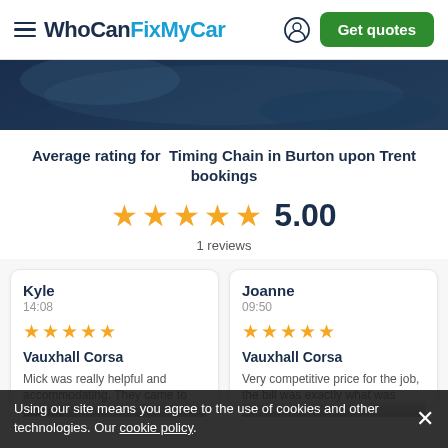WhoCanFixMyCar | Get quotes
[Figure (photo): Dark blue automotive hero image with a car interior/mechanical detail]
Average rating for Timing Chain in Burton upon Trent bookings
5.00 — 5 stars — 1 reviews
Kyle
14:08
★★★★★
Vauxhall Corsa
Mick was really helpful and accommodating. They came to pick my car...
Joanne
09:50
★★★★★
Vauxhall Corsa
Very competitive price for the job, the bill was exactly what was...
Using our site means you agree to the use of cookies and other technologies. Our cookie policy.